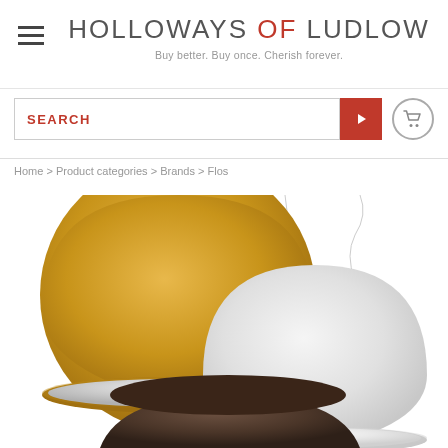HOLLOWAYS OF LUDLOW — Buy better. Buy once. Cherish forever.
[Figure (screenshot): Search bar with red SEARCH label and red submit button, plus shopping cart icon]
Home > Product categories > Brands > Flos
[Figure (photo): Three dome-shaped pendant lamps: gold/brass on left, white in center-right, dark bronze at bottom. Flos Skygarden style lamps with ornate plaster interior visible.]